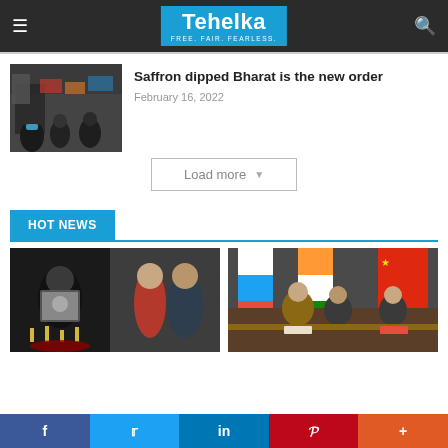Tehelka — FREE. FAIR. FEARLESS.
[Figure (photo): Protest scene with people holding signs, a woman in hijab visible in foreground]
Saffron dipped Bharat is the new order
February 16, 2022
HOT NEWS
[Figure (photo): Collage: candlelight vigil with portrait on left, couple posing on right]
[Figure (photo): Political meeting with figures seated at table with flags of Russia, India, and China]
f  Twitter  in  P  +